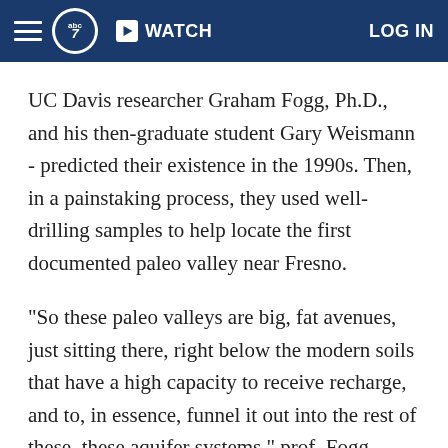ABC7 | WATCH | LOG IN
UC Davis researcher Graham Fogg, Ph.D., and his then-graduate student Gary Weismann - predicted their existence in the 1990s. Then, in a painstaking process, they used well-drilling samples to help locate the first documented paleo valley near Fresno.
"So these paleo valleys are big, fat avenues, just sitting there, right below the modern soils that have a high capacity to receive recharge, and to, in essence, funnel it out into the rest of these, these aquifer systems," prof. Fogg explains.